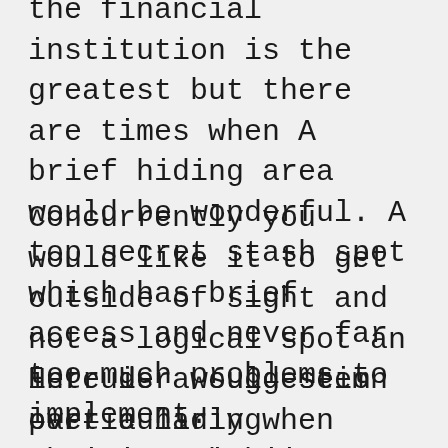the financial institution is the greatest but there are times when A brief hiding area would be wonderful. A top secret stash spot which has brief access and never far too much problems to implement.
Concurrently you would like it to get outside of sight and not a logical spot an intruder would seem particularly when they are within a hurry, like most burglars are.
Here is a suggestion over a hiding position that is not an excessive amount of difficulty to arrange or to modify and can serve you for